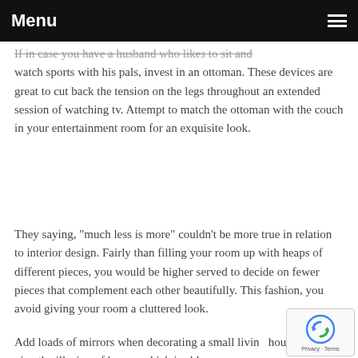Menu
If in case you have a husband who likes to sit and watch sports with his pals, invest in an ottoman. These devices are great to cut back the tension on the legs throughout an extended session of watching tv. Attempt to match the ottoman with the couch in your entertainment room for an exquisite look.
They saying, "much less is more" couldn't be more true in relation to interior design. Fairly than filling your room up with heaps of different pieces, you would be higher served to decide on fewer pieces that complement each other beautifully. This fashion, you avoid giving your room a cluttered look.
Add loads of mirrors when decorating a small living house. Mirrors give the illusion of house, which is able